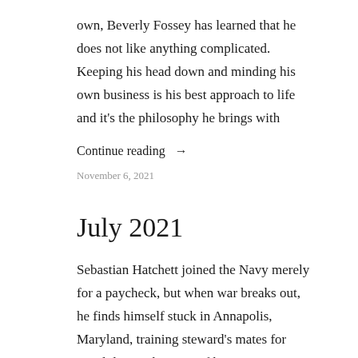own, Beverly Fossey has learned that he does not like anything complicated. Keeping his head down and minding his own business is his best approach to life and it's the philosophy he brings with
Continue reading →
November 6, 2021
July 2021
Sebastian Hatchett joined the Navy merely for a paycheck, but when war breaks out, he finds himself stuck in Annapolis, Maryland, training steward's mates for naval duty. When one of his trainees invites him to Chicago, he reluctantly goes, expecting little. But to his everlasting surprise, his trainee has the most interesting sister...